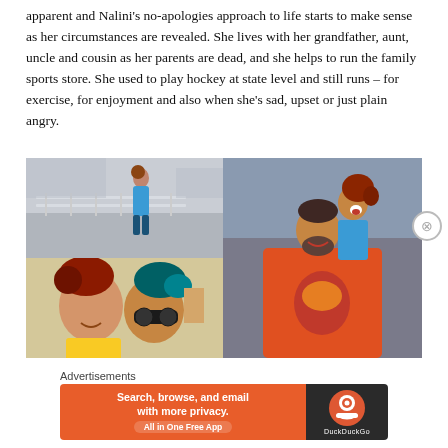apparent and Nalini's no-apologies approach to life starts to make sense as her circumstances are revealed. She lives with her grandfather, aunt, uncle and cousin as her parents are dead, and she helps to run the family sports store. She used to play hockey at state level and still runs – for exercise, for enjoyment and also when she's sad, upset or just plain angry.
[Figure (photo): Top-left photo: A woman in a blue outfit standing on a rooftop balcony with railings, smiling, with curly hair.]
[Figure (photo): Top-right (tall) photo: A man and a woman laughing together, the woman with curly hair riding piggyback on the man who wears a graphic t-shirt.]
[Figure (photo): Bottom-left photo: A close-up of two people with colorful hair leaning together, one wearing sunglasses and a yellow top.]
Advertisements
[Figure (screenshot): DuckDuckGo advertisement banner: orange left section with text 'Search, browse, and email with more privacy. All in One Free App' and dark right section with DuckDuckGo logo.]